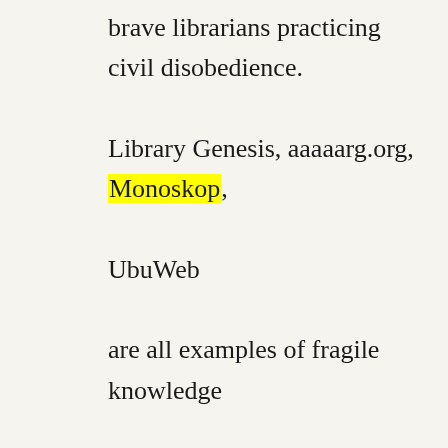brave librarians practicing civil disobedience. Library Genesis, aaaaarg.org, Monoskop, UbuWeb are all examples of fragile knowledge infrastructures built and maintained by brave librarians practicing civil disobedience which the world of researchers in the humanities rely on. These projects are re-inventing the public library in the gap left by today's institutions in crisis.